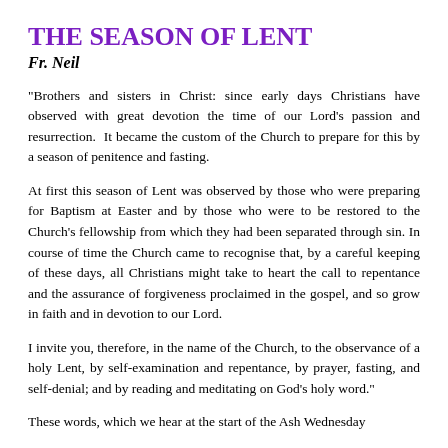THE SEASON OF LENT
Fr. Neil
"Brothers and sisters in Christ: since early days Christians have observed with great devotion the time of our Lord's passion and resurrection.  It became the custom of the Church to prepare for this by a season of penitence and fasting.
At first this season of Lent was observed by those who were preparing for Baptism at Easter and by those who were to be restored to the Church's fellowship from which they had been separated through sin. In course of time the Church came to recognise that, by a careful keeping of these days, all Christians might take to heart the call to repentance and the assurance of forgiveness proclaimed in the gospel, and so grow in faith and in devotion to our Lord.
I invite you, therefore, in the name of the Church, to the observance of a holy Lent, by self-examination and repentance, by prayer, fasting, and self-denial; and by reading and meditating on God's holy word."
These words, which we hear at the start of the Ash Wednesday